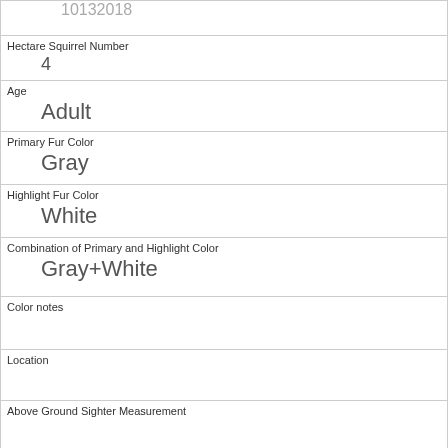| 10132018 |
| Hectare Squirrel Number | 4 |
| Age | Adult |
| Primary Fur Color | Gray |
| Highlight Fur Color | White |
| Combination of Primary and Highlight Color | Gray+White |
| Color notes |  |
| Location |  |
| Above Ground Sighter Measurement |  |
| Specific Location |  |
| Running | 0 |